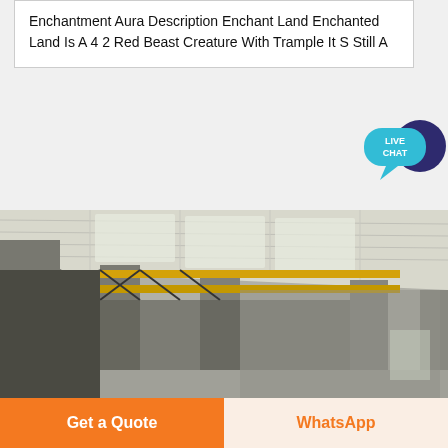Enchantment Aura Description Enchant Land Enchanted Land Is A 4 2 Red Beast Creature With Trample It S Still A
[Figure (photo): Interior of a large industrial warehouse with concrete pillars, yellow overhead crane rails, and a high arched metal roof with skylights letting in natural light. The floor is concrete and the space is empty.]
Get a Quote
WhatsApp